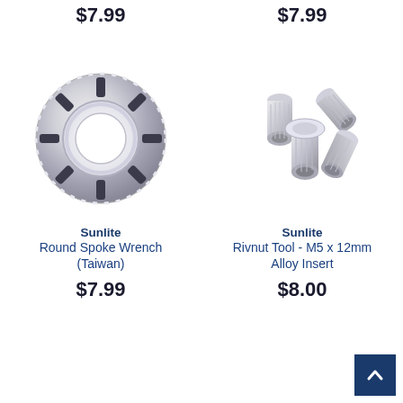$7.99
$7.99
[Figure (photo): Sunlite Round Spoke Wrench (Taiwan) - chrome/silver circular spoke wrench with multiple slots]
[Figure (photo): Sunlite Rivnut Tool M5 x 12mm Alloy Insert - multiple silver rivnut inserts scattered together]
Sunlite
Round Spoke Wrench (Taiwan)
$7.99
Sunlite
Rivnut Tool - M5 x 12mm Alloy Insert
$8.00